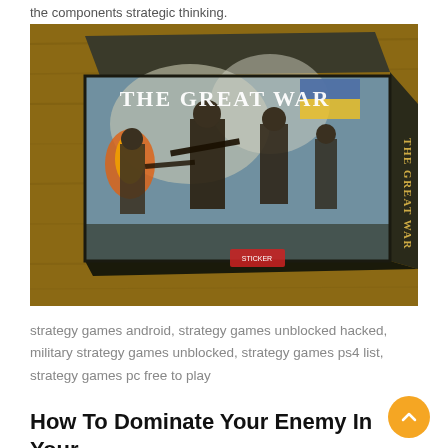the components strategic thinking.
[Figure (photo): A board game box titled 'The Great War' sitting on a wooden table. The box artwork depicts WWI soldiers in battle. The side of the box also reads 'THE GREAT WAR'.]
strategy games android, strategy games unblocked hacked, military strategy games unblocked, strategy games ps4 list, strategy games pc free to play
How To Dominate Your Enemy In Your